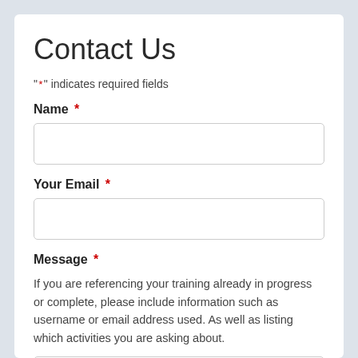Contact Us
"*" indicates required fields
Name *
Your Email *
Message *
If you are referencing your training already in progress or complete, please include information such as username or email address used. As well as listing which activities you are asking about.